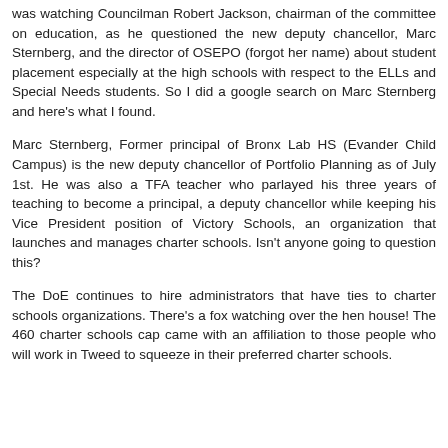was watching Councilman Robert Jackson, chairman of the committee on education, as he questioned the new deputy chancellor, Marc Sternberg, and the director of OSEPO (forgot her name) about student placement especially at the high schools with respect to the ELLs and Special Needs students. So I did a google search on Marc Sternberg and here's what I found.
Marc Sternberg, Former principal of Bronx Lab HS (Evander Child Campus) is the new deputy chancellor of Portfolio Planning as of July 1st. He was also a TFA teacher who parlayed his three years of teaching to become a principal, a deputy chancellor while keeping his Vice President position of Victory Schools, an organization that launches and manages charter schools. Isn't anyone going to question this?
The DoE continues to hire administrators that have ties to charter schools organizations. There's a fox watching over the hen house! The 460 charter schools cap came with an affiliation to those people who will work in Tweed to squeeze in their preferred charter schools.